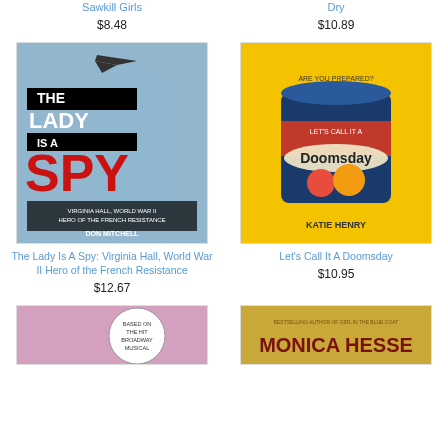Sawkill Girls
$8.48
Dry
$10.89
[Figure (illustration): Book cover: The Lady Is A Spy: Virginia Hall, World War II Hero of the French Resistance by Don Mitchell. Blue-toned photo of a woman with a plane silhouette above, large red SPY text.]
The Lady Is A Spy: Virginia Hall, World War II Hero of the French Resistance
$12.67
[Figure (illustration): Book cover: Let's Call It A Doomsday by Katie Henry. Yellow background with a tomato can labeled Let's Call It A Doomsday.]
Let's Call It A Doomsday
$10.95
[Figure (illustration): Partial book cover visible at bottom left: pink/purple background with a circular badge saying Based on the Hit Broadway Musical.]
[Figure (illustration): Partial book cover visible at bottom right: text Monica Hesse visible, bestselling author of Girl in the Blue Coat.]